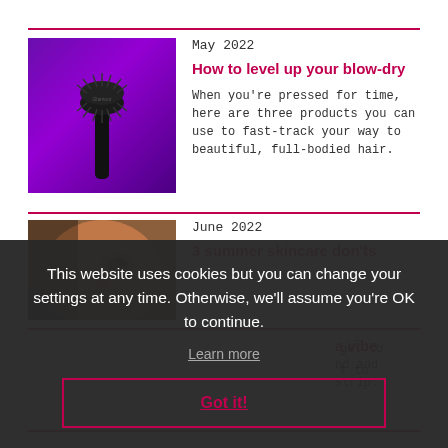May 2022
How to level up your blow-dry
When you're pressed for time, here are three products you can use to fast-track your way to beautiful, full-bodied hair.
[Figure (photo): A round styling brush (blow-dry brush) with black bristles against a purple background]
June 2022
3 summer skincare don'ts
[Figure (photo): Close-up portrait of a person with warm skin tones, partial face visible]
get to
t to
a vibe
nd add
strip.
This website uses cookies but you can change your settings at any time. Otherwise, we'll assume you're OK to continue.
Learn more
Got it!